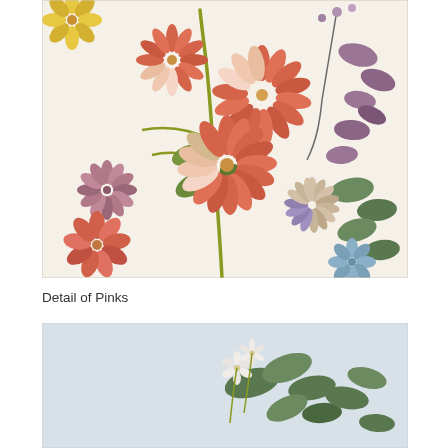[Figure (photo): Close-up photograph of embroidery on cream fabric showing pink and coral carnation-like flowers with radiating stitches, yellow-green stems and leaves, mauve/purple foliage on the right, and hints of blue flowers at the bottom. The embroidery is detailed crewelwork in a floral botanical style.]
Detail of Pinks
[Figure (photo): Partial close-up photograph of embroidery on pale blue/grey fabric showing white small flowers and green leaves, the bottom portion of another embroidered botanical scene.]